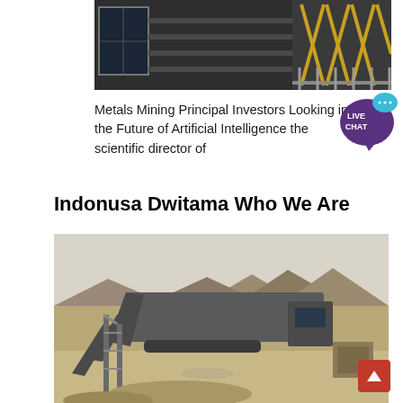[Figure (photo): Top portion of an industrial building structure with metal framework and yellow cross-shaped elements visible on the facade, dark background]
Metals Mining Principal Investors Looking into the Future of Artificial Intelligence the scientific director of
[Figure (infographic): Live Chat button with a purple speech bubble containing 'LIVE CHAT' text and a teal chat icon]
Indonusa Dwitama Who We Are
[Figure (photo): Mining equipment and machinery at an open-pit or quarry site. Large conveyor belt and crusher machinery visible with rocky hills in background and sandy/rocky ground in foreground.]